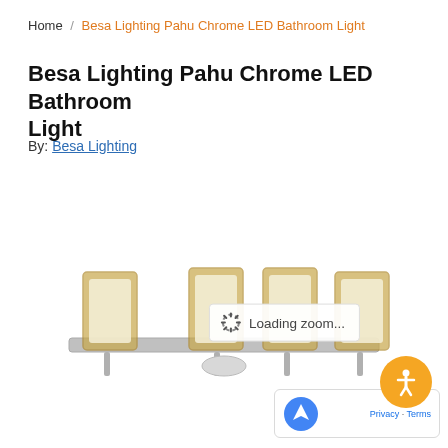Home / Besa Lighting Pahu Chrome LED Bathroom Light
Besa Lighting Pahu Chrome LED Bathroom Light
By: Besa Lighting
[Figure (photo): Besa Lighting Pahu Chrome LED bathroom vanity light fixture with four amber/cream glass shades on a chrome horizontal bar. Overlay text reads 'Loading zoom...']